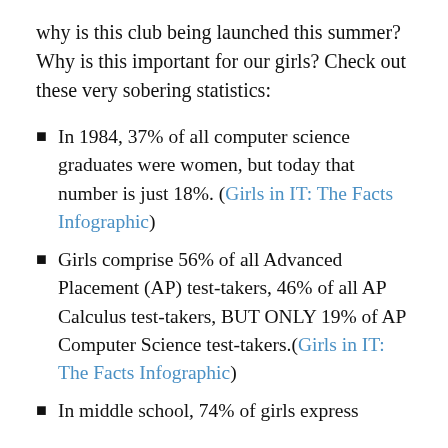why is this club being launched this summer? Why is this important for our girls? Check out these very sobering statistics:
In 1984, 37% of all computer science graduates were women, but today that number is just 18%. (Girls in IT: The Facts Infographic)
Girls comprise 56% of all Advanced Placement (AP) test-takers, 46% of all AP Calculus test-takers, BUT ONLY 19% of AP Computer Science test-takers.(Girls in IT: The Facts Infographic)
In middle school, 74% of girls express...